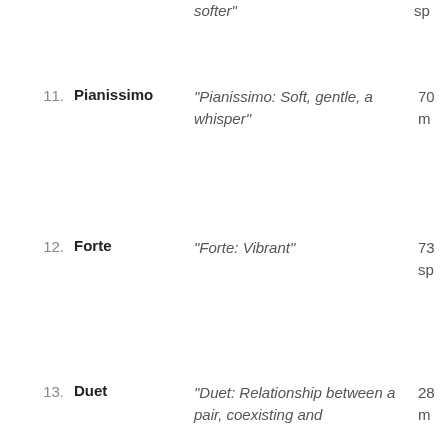softer"   sp
11. Pianissimo — "Pianissimo: Soft, gentle, a whisper" 70 m
12. Forte — "Forte: Vibrant" 73 sp
13. Duet — "Duet: Relationship between a pair, coexisting and 28 m